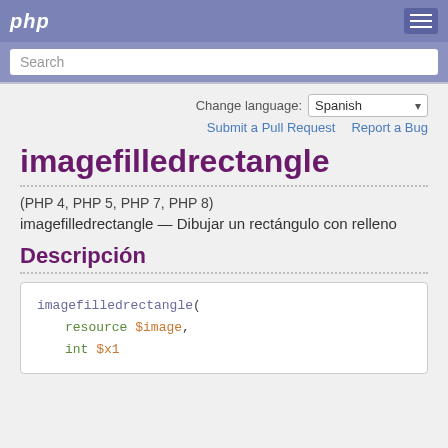php
Search
Change language: Spanish
Submit a Pull Request   Report a Bug
imagefilledrectangle
(PHP 4, PHP 5, PHP 7, PHP 8)
imagefilledrectangle — Dibujar un rectángulo con relleno
Descripción
imagefilledrectangle(
    resource $image,
    int $x1